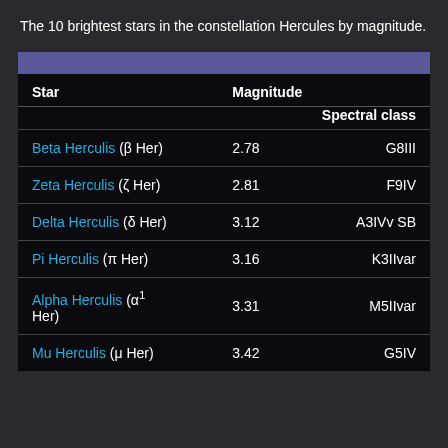The 10 brightest stars in the constellation Hercules by magnitude.
| Star | Magnitude | Spectral class |
| --- | --- | --- |
| Beta Herculis (β Her) | 2.78 | G8III |
| Zeta Herculis (ζ Her) | 2.81 | F9IV |
| Delta Herculis (δ Her) | 3.12 | A3IVv SB |
| Pi Herculis (π Her) | 3.16 | K3IIvar |
| Alpha Herculis (α¹ Her) | 3.31 | M5IIvar |
| Mu Herculis (μ Her) | 3.42 | G5IV |